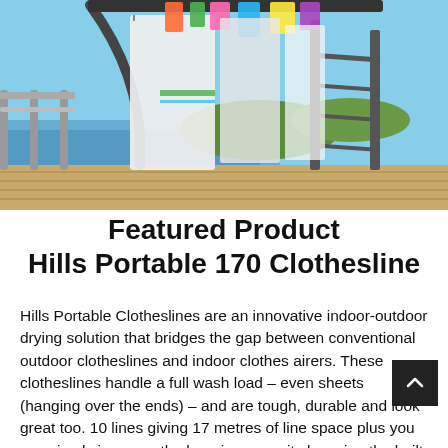[Figure (photo): Outdoor photo of Hills Portable clothesline on a wooden deck with white sheets and colorful bags hanging, ocean and green hills visible in background, blue sky.]
Featured Product Hills Portable 170 Clothesline
Hills Portable Clotheslines are an innovative indoor-outdoor drying solution that bridges the gap between conventional outdoor clotheslines and indoor clothes airers. These clotheslines handle a full wash load – even sheets (hanging over the ends) – and are tough, durable and look great too. 10 lines giving 17 metres of line space plus you can simply increase the hanging capacity by using the built in coat hanger